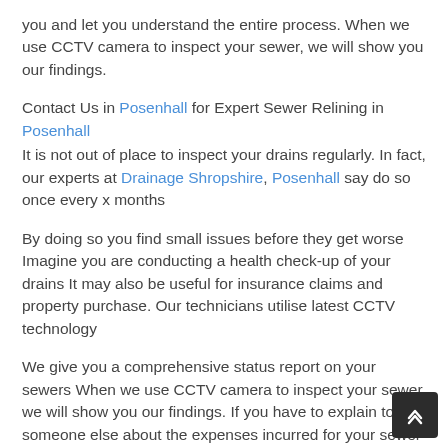you and let you understand the entire process. When we use CCTV camera to inspect your sewer, we will show you our findings.
Contact Us in Posenhall for Expert Sewer Relining in Posenhall
It is not out of place to inspect your drains regularly. In fact, our experts at Drainage Shropshire, Posenhall say do so once every x months
By doing so you find small issues before they get worse Imagine you are conducting a health check-up of your drains It may also be useful for insurance claims and property purchase. Our technicians utilise latest CCTV technology
We give you a comprehensive status report on your sewers When we use CCTV camera to inspect your sewer, we will show you our findings. If you have to explain to someone else about the expenses incurred for your sewer relining work we suggest you ask the technician as many questions as necessary so you understand what they are doing and why